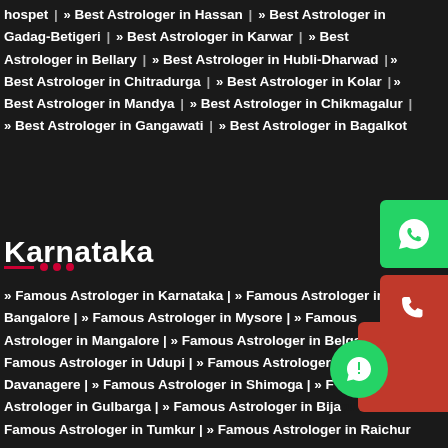hospet | » Best Astrologer in Hassan | » Best Astrologer in Gadag-Betigeri | » Best Astrologer in Karwar | » Best Astrologer in Bellary | » Best Astrologer in Hubli-Dharwad | » Best Astrologer in Chitradurga | » Best Astrologer in Kolar | » Best Astrologer in Mandya | » Best Astrologer in Chikmagalur | » Best Astrologer in Gangawati | » Best Astrologer in Bagalkot
Karnataka
» Famous Astrologer in Karnataka | » Famous Astrologer in Bangalore | » Famous Astrologer in Mysore | » Famous Astrologer in Mangalore | » Famous Astrologer in Belgaum | » Famous Astrologer in Udupi | » Famous Astrologer in Davanagere | » Famous Astrologer in Shimoga | » Famous Astrologer in Gulbarga | » Famous Astrologer in Bijapur | » Famous Astrologer in Tumkur | » Famous Astrologer in Raichur